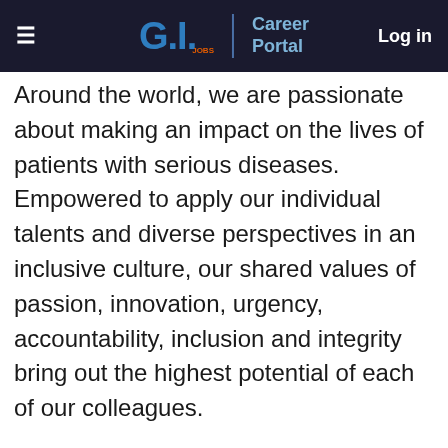GI.JOBS | Career Portal  Log in
Around the world, we are passionate about making an impact on the lives of patients with serious diseases. Empowered to apply our individual talents and diverse perspectives in an inclusive culture, our shared values of passion, innovation, urgency, accountability, inclusion and integrity bring out the highest potential of each of our colleagues.
Bristol Myers Squibb recognizes the importance of balance and flexibility in our work environment. We offer a wide